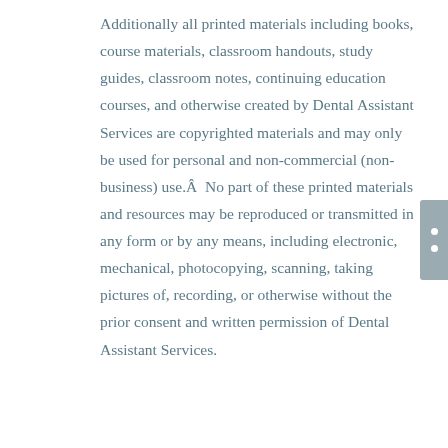Additionally all printed materials including books, course materials, classroom handouts, study guides, classroom notes, continuing education courses, and otherwise created by Dental Assistant Services are copyrighted materials and may only be used for personal and non-commercial (non-business) use.Â  No part of these printed materials and resources may be reproduced or transmitted in any form or by any means, including electronic, mechanical, photocopying, scanning, taking pictures of, recording, or otherwise without the prior consent and written permission of Dental Assistant Services.